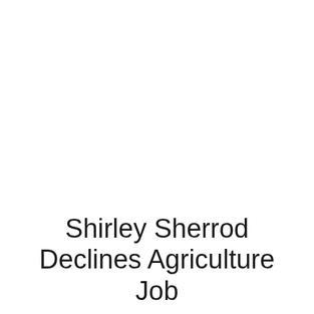Shirley Sherrod Declines Agriculture Job